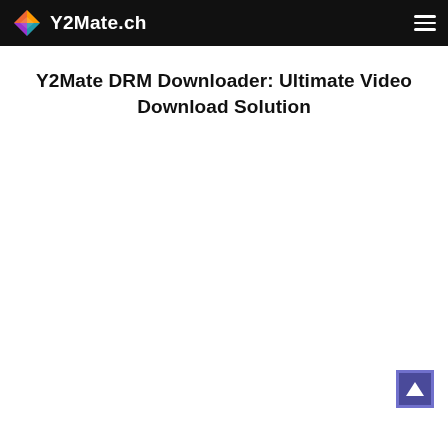Y2Mate.ch
Y2Mate DRM Downloader: Ultimate Video Download Solution
[Figure (other): Scroll-to-top button: dark purple/indigo square button with a white upward-pointing triangle arrow icon in the bottom-right corner of the page]